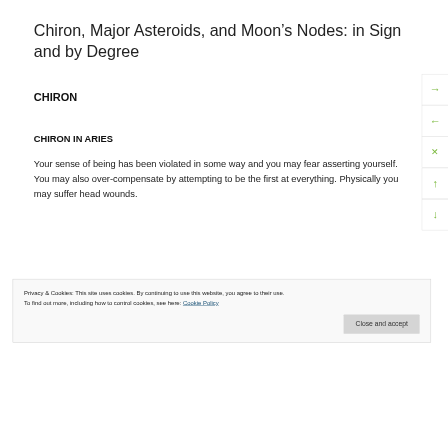Chiron, Major Asteroids, and Moon’s Nodes: in Sign and by Degree
CHIRON
CHIRON IN ARIES
Your sense of being has been violated in some way and you may fear asserting yourself. You may also over-compensate by attempting to be the first at everything. Physically you may suffer head wounds.
Privacy & Cookies: This site uses cookies. By continuing to use this website, you agree to their use.
To find out more, including how to control cookies, see here: Cookie Policy
Close and accept
Part of Body: Midbrain